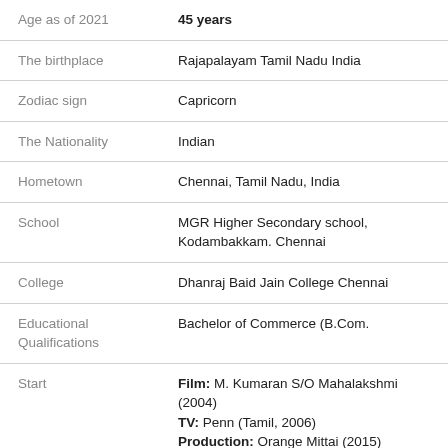| Field | Value |
| --- | --- |
| Age as of 2021 | 45 years |
| The birthplace | Rajapalayam Tamil Nadu India |
| Zodiac sign | Capricorn |
| The Nationality | Indian |
| Hometown | Chennai, Tamil Nadu, India |
| School | MGR Higher Secondary school, Kodambakkam. Chennai |
| College | Dhanraj Baid Jain College Chennai |
| Educational Qualifications | Bachelor of Commerce (B.Com. |
| Start | Film: M. Kumaran S/O Mahalakshmi (2004)
TV: Penn (Tamil, 2006)
Production: Orange Mittai (2015)
Singing & Songwriting: Straight Ah Poyee (2015) |
| Award, Honours | • Tamil Nadu State Film Awards for Best Villain for the film "Sundarapandian" in 2012 |